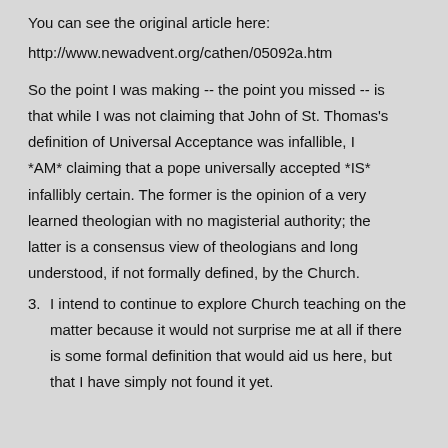You can see the original article here:
http://www.newadvent.org/cathen/05092a.htm
So the point I was making -- the point you missed -- is that while I was not claiming that John of St. Thomas's definition of Universal Acceptance was infallible, I *AM* claiming that a pope universally accepted *IS* infallibly certain. The former is the opinion of a very learned theologian with no magisterial authority; the latter is a consensus view of theologians and long understood, if not formally defined, by the Church.
3. I intend to continue to explore Church teaching on the matter because it would not surprise me at all if there is some formal definition that would aid us here, but that I have simply not found it yet.